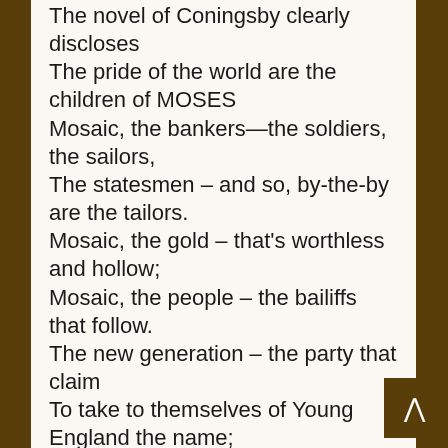The novel of Coningsby clearly discloses
The pride of the world are the children of MOSES
Mosaic, the bankers—the soldiers, the sailors,
The statesmen – and so, by-the-by are the tailors.
Mosaic, the gold – that's worthless and hollow;
Mosaic, the people – the bailiffs that follow.
The new generation – the party that claim
To take to themselves of Young England the name;
In spite of their waistcoats much whiter than snow,
It seems after all are the tribe of Old